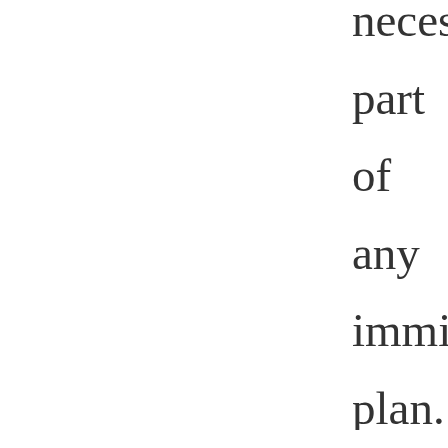necessary part of any immigration plan.

But the legislation seems unlikely to make it to Trump's desk. It would need some Democratic support in the Senate and the party has focused much of its immigration energy on finding a solution for the immigrants who came to the United States illegally when they were children